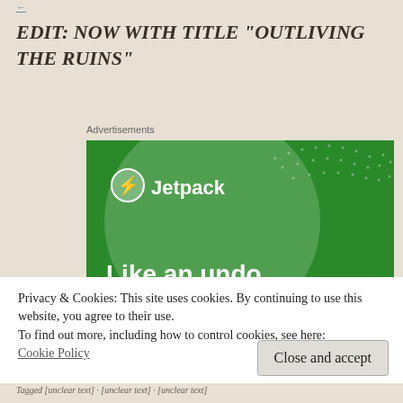[link bar top]
EDIT: NOW WITH TITLE “OUTLIVING THE RUINS”
Advertisements
[Figure (screenshot): Jetpack advertisement banner with green background showing logo and text 'Like an undo button for your WordPress site']
Privacy & Cookies: This site uses cookies. By continuing to use this website, you agree to their use.
To find out more, including how to control cookies, see here: Cookie Policy
Tagged [footer text partially visible]